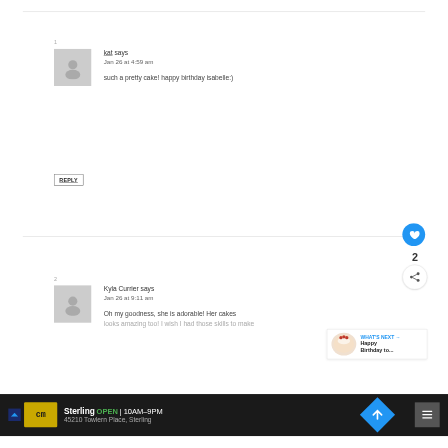1
kat says
Jan 26 at 4:59 am
such a pretty cake! happy birthday isabelle:)
REPLY
2
Kyla Currier says
Jan 26 at 9:11 am
Oh my goodness, she is adorable! Her cakes looks amazing too! I wish I had those skills to make...
WHAT'S NEXT → Happy Birthday to...
Sterling OPEN 10AM–9PM 45210 Towlern Place, Sterling